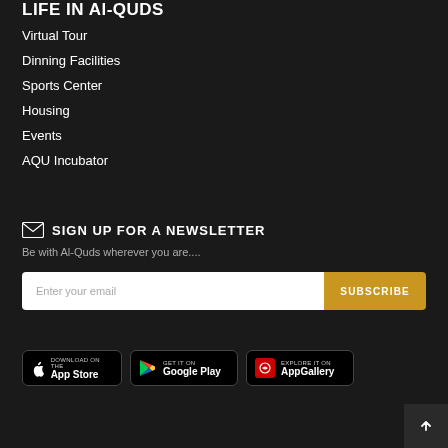LIFE IN Al-QUDS
Virtual Tour
Dinning Facilities
Sports Center
Housing
Events
AQU Incubator
SIGN UP FOR A NEWSLETTER
Be with Al-Quds wherever you are....
Enter your email
SUBSCRIBE
[Figure (other): App store badges: Download on the App Store, GET IT ON Google Play, EXPLORE IT ON AppGallery]